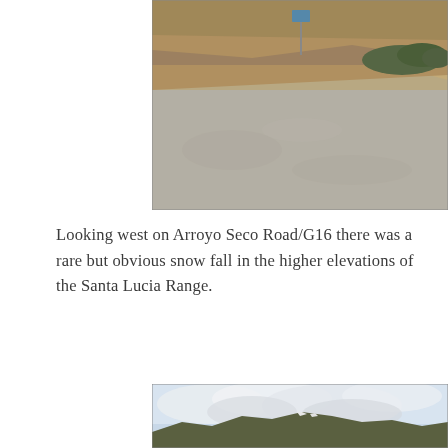[Figure (photo): Photograph looking west on Arroyo Seco Road/G16 showing a gravel/paved area with a rocky hillside cut and sparse shrubs in the background. A road sign is visible in the distance.]
Looking west on Arroyo Seco Road/G16 there was a rare but obvious snow fall in the higher elevations of the Santa Lucia Range.
[Figure (photo): Photograph of mountainous terrain with snow visible on higher elevations of the Santa Lucia Range, under a partly cloudy sky with large white clouds.]